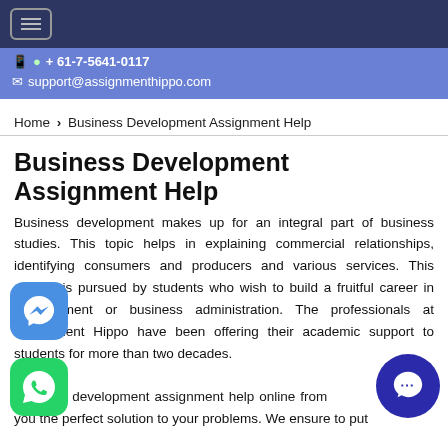≡ (hamburger menu button)
📱 🟢 + 61-7-5641-0117
✉ support@assignmenthippo.com
Home ❯ Business Development Assignment Help
Business Development Assignment Help
Business development makes up for an integral part of business studies. This topic helps in explaining commercial relationships, identifying consumers and producers and various services. This subject is pursued by students who wish to build a fruitful career in management or business administration. The professionals at Assignment Hippo have been offering their academic support to students for more than two decades. business development assignment help online from us gives you the perfect solution to your problems. We ensure to put